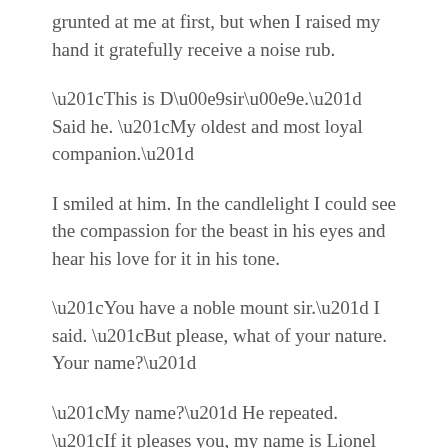grunted at me at first, but when I raised my hand it gratefully receive a noise rub.
“This is Désirée.” Said he. “My oldest and most loyal companion.”
I smiled at him. In the candlelight I could see the compassion for the beast in his eyes and hear his love for it in his tone.
“You have a noble mount sir.” I said. “But please, what of your nature. Your name?”
“My name?” He repeated. “If it pleases you, my name is Lionel Freedman.”
“Yes. It does.”